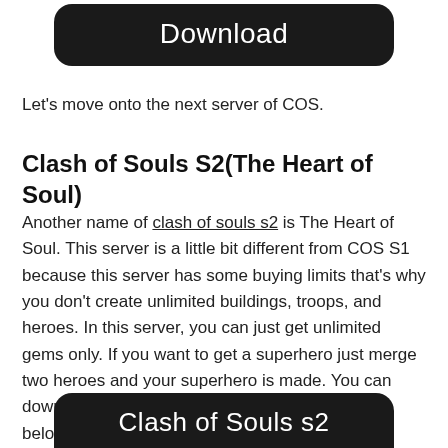[Figure (other): Black rounded button with white text 'Download']
Let's move onto the next server of COS.
Clash of Souls S2(The Heart of Soul)
Another name of clash of souls s2 is The Heart of Soul. This server is a little bit different from COS S1 because this server has some buying limits that's why you don't create unlimited buildings, troops, and heroes. In this server, you can just get unlimited gems only. If you want to get a superhero just merge two heroes and your superhero is made. You can download this server by clicking the button given below.
[Figure (other): Black rounded button with white text 'Clash of Souls s2' partially visible at bottom]